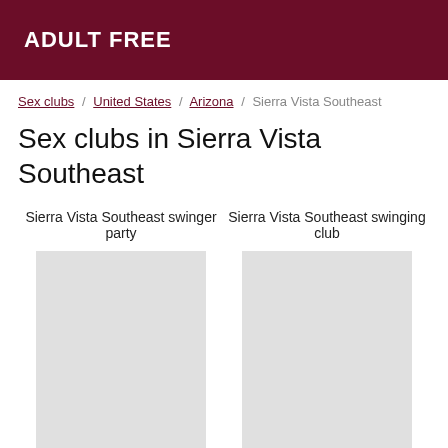ADULT FREE
Sex clubs / United States / Arizona / Sierra Vista Southeast
Sex clubs in Sierra Vista Southeast
Sierra Vista Southeast swinger party
Sierra Vista Southeast swinging club
[Figure (photo): Profile photo placeholder for Aurianne]
[Figure (photo): Profile photo placeholder for Elisette]
Aurianne - 44 years old
Elisette - 43 years old
casual sex Sierra Vista Southeast
Sierra Vista Southeast speed dating